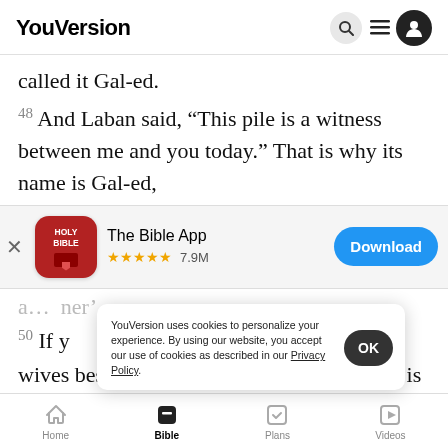YouVersion
called it Gal-ed.
48 And Laban said, “This pile is a witness between me and you today.” That is why its name is Gal-ed,
[Figure (screenshot): App store download banner for The Bible App with 5 stars and 7.9M rating, with a Download button]
50 If y... wives besides my daughters, though no one is with
YouVersion uses cookies to personalize your experience. By using our website, you accept our use of cookies as described in our Privacy Policy.
Home | Bible | Plans | Videos